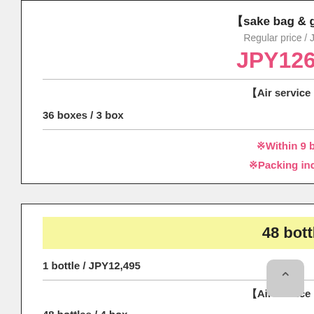【sake bag & gift box】
Regular price / JPY3,512
JPY126,432
【Air service price】
36 boxes / 3 box   JPY37,800
※Within 9 boxes
※Packing included.
48 bottles
1 bottle / JPY12,495   JPY599,760
【Air service price】
48 bottles / 4 box   JPY88,108